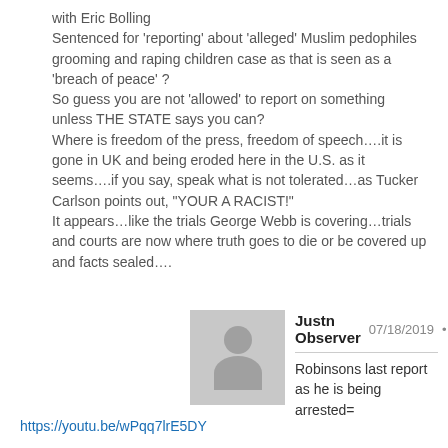with Eric Bolling
Sentenced for ‘reporting’ about ‘alleged’ Muslim pedophiles grooming and raping children case as that is seen as a ‘breach of peace’ ?
So guess you are not ‘allowed’ to report on something unless THE STATE says you can?
Where is freedom of the press, freedom of speech….it is gone in UK and being eroded here in the U.S. as it seems….if you say, speak what is not tolerated…as Tucker Carlson points out, “YOUR A RACIST!”
It appears…like the trials George Webb is covering…trials and courts are now where truth goes to die or be covered up and facts sealed….
Justn Observer  07/18/2019 • Reply
Robinsons last report as he is being arrested=
https://youtu.be/wPqq7lrE5DY